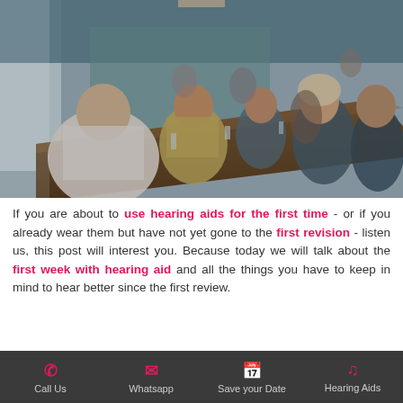[Figure (photo): People sitting around a long restaurant/bar table, socializing and talking, indoor setting with warm lighting and blurred background]
If you are about to use hearing aids for the first time - or if you already wear them but have not yet gone to the first revision - listen us, this post will interest you. Because today we will talk about the first week with hearing aid and all the things you have to keep in mind to hear better since the first review.
Call Us | Whatsapp | Save your Date | Hearing Aids